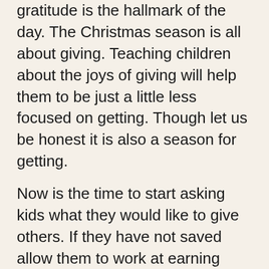gratitude is the hallmark of the day. The Christmas season is all about giving. Teaching children about the joys of giving will help them to be just a little less focused on getting. Though let us be honest it is also a season for getting.
Now is the time to start asking kids what they would like to give others. If they have not saved allow them to work at earning money to buy gifts. Talk to them about making gifts for friends and family. This is great for artistic children
One of the best things in life is making a plan to give something good to someone.There is an inherent joy in the planning, the anticipation of their response, and the joy we get in the joy of their getting it. We so enjoy doing this for others yet, we sometimes overlook teaching it Take the